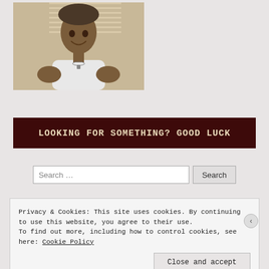[Figure (photo): A person smiling, wearing a white t-shirt and a necklace, photographed indoors near window blinds. Sepia/warm-toned photo.]
LOOKING FOR SOMETHING? GOOD LUCK
Search ...
Privacy & Cookies: This site uses cookies. By continuing to use this website, you agree to their use.
To find out more, including how to control cookies, see here: Cookie Policy
Close and accept